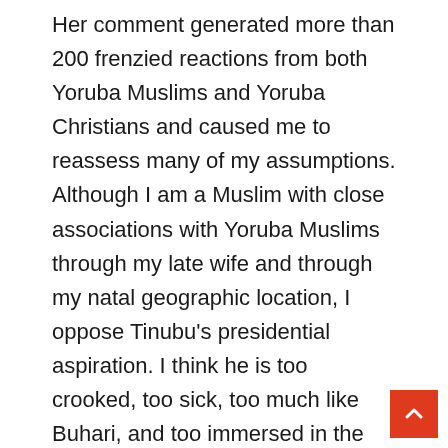Her comment generated more than 200 frenzied reactions from both Yoruba Muslims and Yoruba Christians and caused me to reassess many of my assumptions. Although I am a Muslim with close associations with Yoruba Muslims through my late wife and through my natal geographic location, I oppose Tinubu's presidential aspiration. I think he is too crooked, too sick, too much like Buhari, and too immersed in the kind of politics that ensures that Nigeria is perpetually broken to be president.
But I also oppose Yemi Osinbajo not because he isn't a Muslim but because he is a naïve, narrowminded, culturally incompetent Pentecostal theocratic bigot who would, as a senior Christian